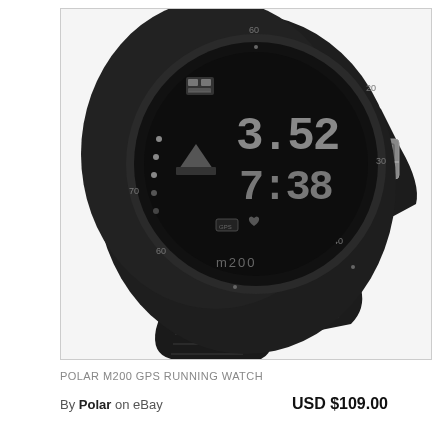[Figure (photo): A black Polar M200 GPS running watch shown at an angle, displaying the digital watch face with numbers 3.52 and 7:38, GPS and heart rate icons, and the M200 brand name on the bezel. The watch has a black rubber strap with buckle.]
POLAR M200 GPS RUNNING WATCH
By Polar on eBay    USD $109.00